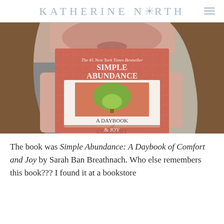KATHERINE NORTH
[Figure (photo): A woman holding up the book 'Simple Abundance: A Daybook of Comfort and Joy' by Sarah Ban Breathnach. The book has a red patterned cover with a painting of a tree in the center.]
The book was Simple Abundance: A Daybook of Comfort and Joy by Sarah Ban Breathnach. Who else remembers this book??? I found it at a bookstore